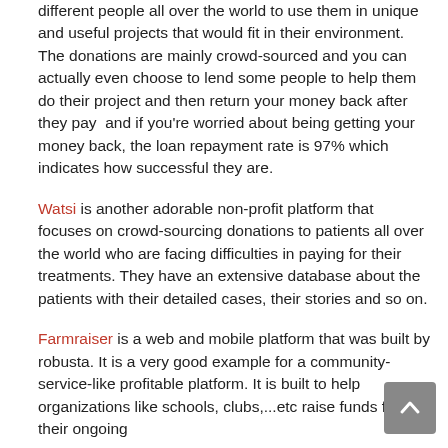different people all over the world to use them in unique and useful projects that would fit in their environment. The donations are mainly crowd-sourced and you can actually even choose to lend some people to help them do their project and then return your money back after they pay  and if you're worried about being getting your money back, the loan repayment rate is 97% which indicates how successful they are.
Watsi is another adorable non-profit platform that focuses on crowd-sourcing donations to patients all over the world who are facing difficulties in paying for their treatments. They have an extensive database about the patients with their detailed cases, their stories and so on.
Farmraiser is a web and mobile platform that was built by robusta. It is a very good example for a community-service-like profitable platform. It is built to help organizations like schools, clubs,...etc raise funds for their ongoingehr machine to be called the of and